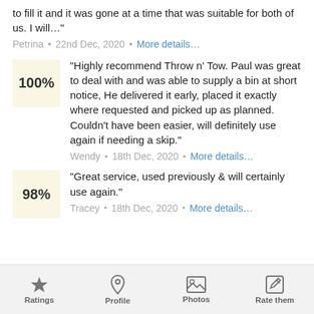to fill it and it was gone at a time that was suitable for both of us. I will…"
Petrina  •  22nd Dec, 2020  •  More details…
"Highly recommend Throw n' Tow. Paul was great to deal with and was able to supply a bin at short notice, He delivered it early, placed it exactly where requested and picked up as planned. Couldn't have been easier, will definitely use again if needing a skip."
Wendy  •  18th Dec, 2020  •  More details…
"Great service, used previously & will certainly use again."
Tracey  •  18th Dec, 2020  •  More details…
Ratings  Profile  Photos  Rate them